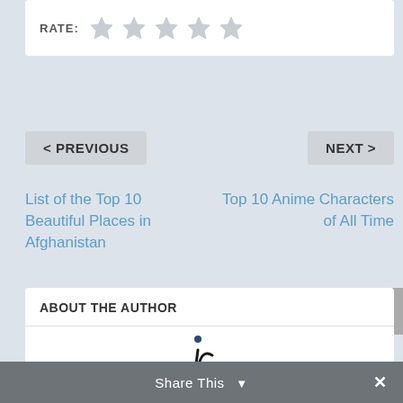[Figure (other): Star rating widget showing RATE: label and 5 empty grey star icons]
< PREVIOUS
NEXT >
List of the Top 10 Beautiful Places in Afghanistan
Top 10 Anime Characters of All Time
ABOUT THE AUTHOR
[Figure (logo): IC cursive logo mark in dark ink]
Share This  ×